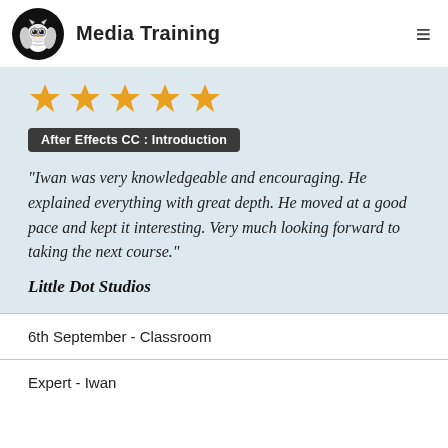Media Training
[Figure (illustration): Five gold star rating icons]
After Effects CC : Introduction
"Iwan was very knowledgeable and encouraging. He explained everything with great depth. He moved at a good pace and kept it interesting. Very much looking forward to taking the next course."
Little Dot Studios
6th September - Classroom
Expert - Iwan